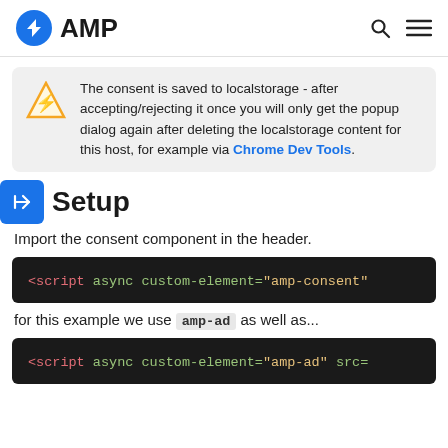AMP
The consent is saved to localstorage - after accepting/rejecting it once you will only get the popup dialog again after deleting the localstorage content for this host, for example via Chrome Dev Tools.
Setup
Import the consent component in the header.
[Figure (screenshot): Code block showing: <script async custom-element="amp-consent"]
for this example we use amp-ad as well as...
[Figure (screenshot): Code block showing: <script async custom-element="amp-ad" src=]